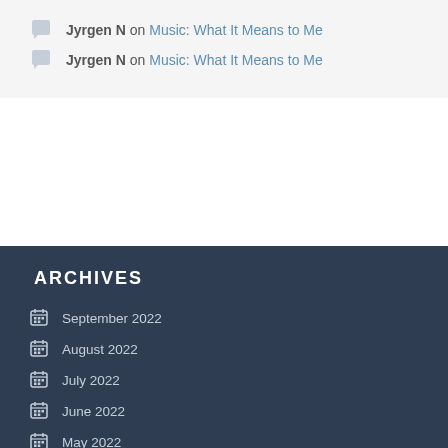Jyrgen N on Music: What It Means to Me
Jyrgen N on Music: What It Means to Me
ARCHIVES
September 2022
August 2022
July 2022
June 2022
May 2022
March 2022
February 2022